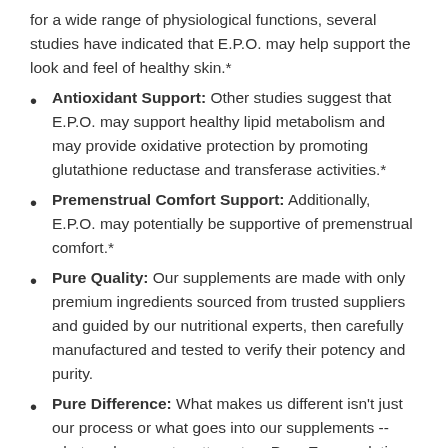for a wide range of physiological functions, several studies have indicated that E.P.O. may help support the look and feel of healthy skin.*
Antioxidant Support: Other studies suggest that E.P.O. may support healthy lipid metabolism and may provide oxidative protection by promoting glutathione reductase and transferase activities.*
Premenstrual Comfort Support: Additionally, E.P.O. may potentially be supportive of premenstrual comfort.*
Pure Quality: Our supplements are made with only premium ingredients sourced from trusted suppliers and guided by our nutritional experts, then carefully manufactured and tested to verify their potency and purity.
Pure Difference: What makes us different isn't just our process or what goes into our supplements -- what we leave out matters, too. Pure Encapsulations products are FREE FROM wheat, eggs, tree nuts & peanuts, gluten, artificial colors,